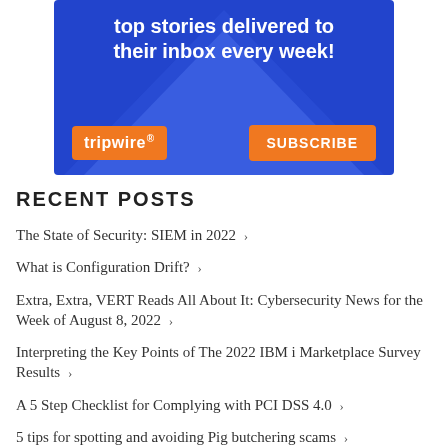[Figure (infographic): Tripwire advertisement banner with blue background, white bold text 'top stories delivered to their inbox every week!', orange Tripwire logo badge on the left and orange SUBSCRIBE button on the right]
RECENT POSTS
The State of Security: SIEM in 2022 ›
What is Configuration Drift? ›
Extra, Extra, VERT Reads All About It: Cybersecurity News for the Week of August 8, 2022 ›
Interpreting the Key Points of The 2022 IBM i Marketplace Survey Results ›
A 5 Step Checklist for Complying with PCI DSS 4.0 ›
5 tips for spotting and avoiding Pig butchering scams ›